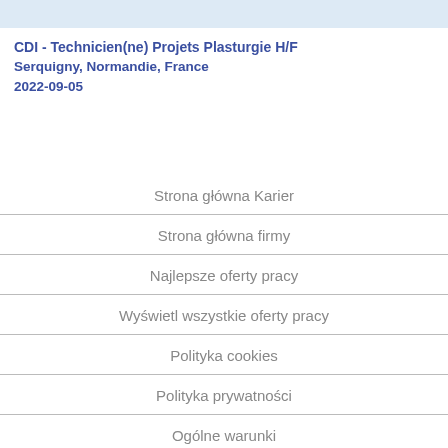CDI - Technicien(ne) Projets Plasturgie H/F
Serquigny, Normandie, France
2022-09-05
Strona główna Karier
Strona główna firmy
Najlepsze oferty pracy
Wyświetl wszystkie oferty pracy
Polityka cookies
Polityka prywatności
Ogólne warunki